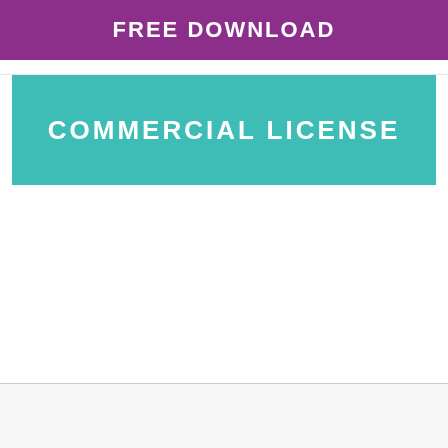FREE DOWNLOAD
COMMERCIAL LICENSE